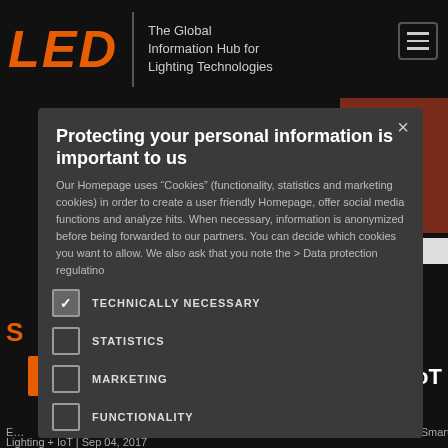[Figure (screenshot): Background of a website for LED lighting information hub, with black header, LED logo in orange, tagline text, hamburger menu, a brownish-red banner partially visible on the right, and website content below]
Protecting your personal information is important to us
Our Homepage uses “Cookies” (functionality, statistics and marketing cookies) in order to create a user friendly Homepage, offer social media functions and analyze hits. When necessary, information is anonymized before being forwarded to our partners. You can decide which cookies you want to allow. We also ask that you note the > Data protection regulatino
TECHNICALLY NECESSARY
STATISTICS
MARKETING
FUNCTIONALITY
E… trols | Smart Lighting + IoT | Sep 04, 2017